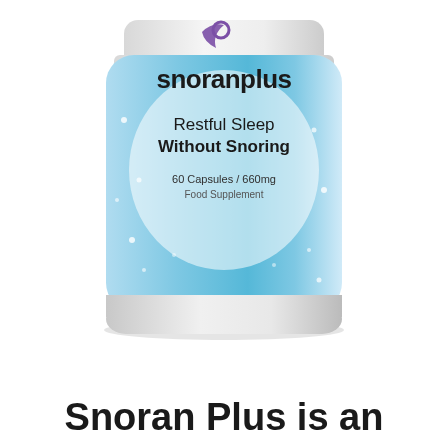[Figure (photo): A cylindrical supplement bottle with a light blue label. The label shows the brand name 'snoranplus' with a stylized crescent moon and star logo in purple/dark color. Text on label reads: 'Restful Sleep Without Snoring', '60 Capsules / 660mg', 'Food Supplement'. The bottle has a white cap and white base.]
Snoran Plus is an